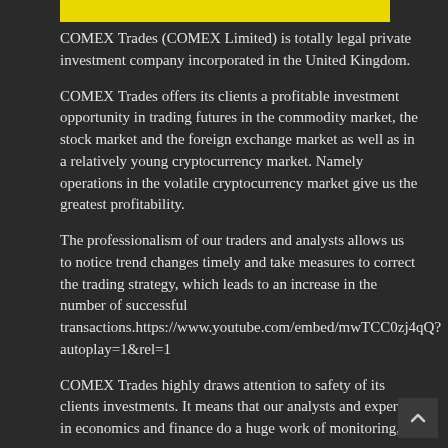[Figure (other): Yellow horizontal bar at top of page]
COMEX Trades (COMEX Limited) is totally legal private investment company incorporated in the United Kingdom.
COMEX Trades offers its clients a profitable investment opportunity in trading futures in the commodity market, the stock market and the foreign exchange market as well as in a relatively young cryptocurrency market. Namely operations in the volatile cryptocurrency market give us the greatest profitability.
The professionalism of our traders and analysts allows us to notice trend changes timely and take measures to correct the trading strategy, which leads to an increase in the number of successful transactions.https://www.youtube.com/embed/mwTCC0zj4qQ?autoplay=1&rel=1
COMEX Trades highly draws attention to safety of its clients investments. It means that our analysts and experts in economics and finance do a huge work of monitoring,